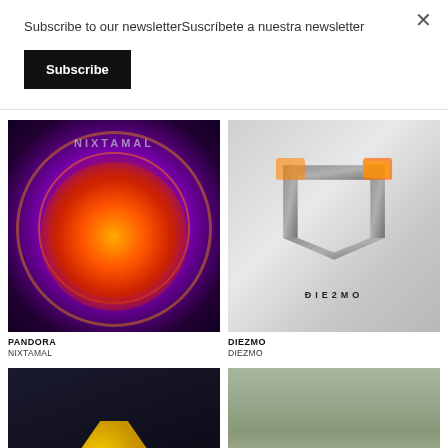Subscribe to our newsletterSuscríbete a nuestra newsletter
× (close button)
Subscribe
[Figure (illustration): Album cover for PANDORA by NIXTAMAL — dark background with glowing colorful figure, NIXTAMAL text at top]
PANDORA
NIXTAMAL
[Figure (illustration): Album cover for DIEZMO by DIEZMO — white/grey crinkled paper background with flaming shield-like logo and DIEZMO text]
DIEZMO
DIEZMO
[Figure (photo): Album cover — gold figurine on dark background]
[Figure (photo): Album cover — outdoor/nature scene with text overlay]